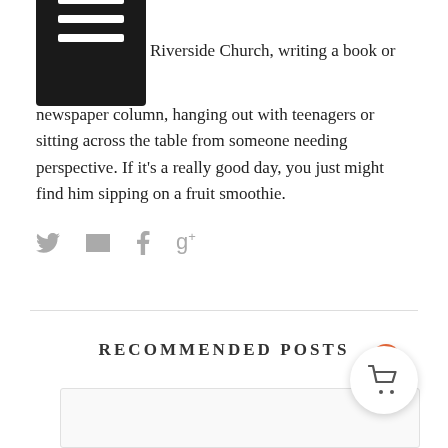Riverside Church, writing a book or newspaper column, hanging out with teenagers or sitting across the table from someone needing perspective. If it's a really good day, you just might find him sipping on a fruit smoothie.
[Figure (other): Social share icons: Twitter bird, envelope/email, Facebook f, Google+ g+]
RECOMMENDED POSTS
[Figure (other): Recommended post card placeholder image, light grey background]
[Figure (other): Shopping cart button with orange badge showing 0]